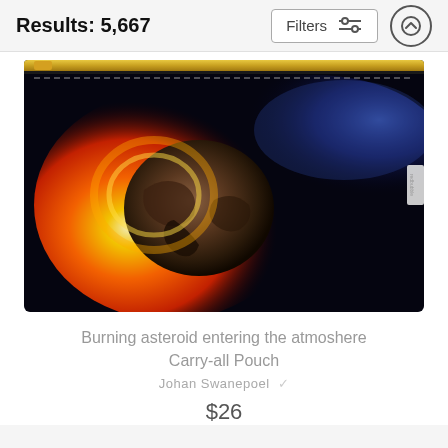Results: 5,667
[Figure (screenshot): Filters button with sliders icon and up arrow button]
[Figure (photo): A carry-all pouch product with an image of a burning asteroid entering the atmosphere against a dark space background. The pouch has a gold zipper at the top.]
Burning asteroid entering the atmoshere Carry-all Pouch
Johan Swanepoel
$26